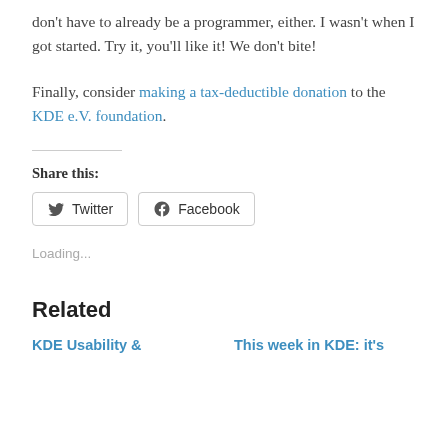don't have to already be a programmer, either. I wasn't when I got started. Try it, you'll like it! We don't bite!
Finally, consider making a tax-deductible donation to the KDE e.V. foundation.
Share this:
Twitter  Facebook
Loading...
Related
KDE Usability &
This week in KDE: it's